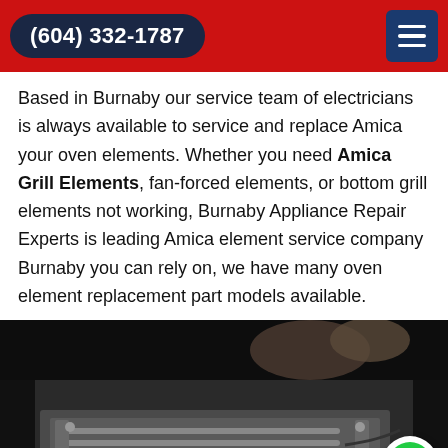(604) 332-1787
Based in Burnaby our service team of electricians is always available to service and replace Amica your oven elements. Whether you need Amica Grill Elements, fan-forced elements, or bottom grill elements not working, Burnaby Appliance Repair Experts is leading Amica element service company Burnaby you can rely on, we have many oven element replacement part models available.
[Figure (photo): Photo of a technician's hands working on an oven heating element inside a dark oven cavity, showing metal element components and wiring.]